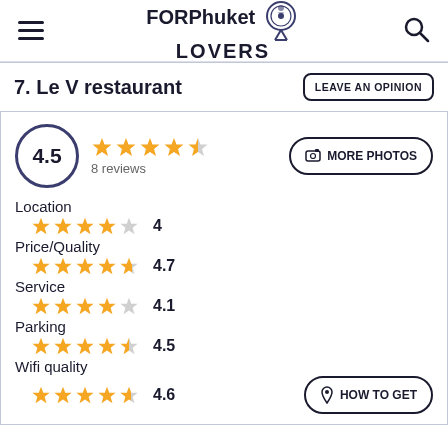FORPhuket LOVERS
7. Le V restaurant
LEAVE AN OPINION
4.5 — 8 reviews
MORE PHOTOS
Location — 4
Price/Quality — 4.7
Service — 4.1
Parking — 4.5
Wifi quality — 4.6
HOW TO GET